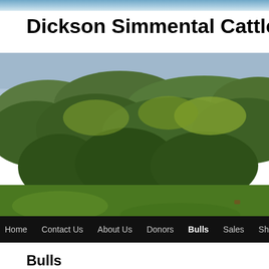Dickson Simmental Cattle
[Figure (photo): Outdoor landscape photo showing a rolling green hillside with dense deciduous trees covering a hillside in the background, green grass field in the foreground, overcast sky]
Home  Contact Us  About Us  Donors  Bulls  Sales  Show
Bulls
Simmental Bulls for Sale in Ohio.  Top Genetics ready to go to